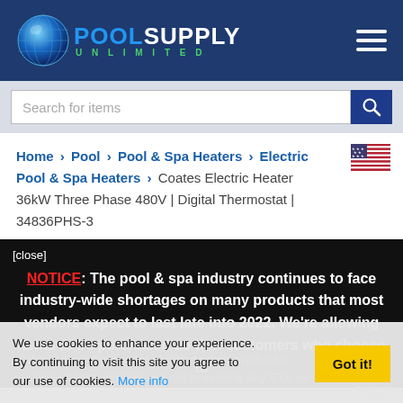[Figure (logo): Pool Supply Unlimited logo with globe icon on dark blue header background]
[Figure (screenshot): Search bar with placeholder text 'Search for items' and a blue search button with magnifying glass icon]
Home > Pool > Pool & Spa Heaters > Electric Pool & Spa Heaters > Coates Electric Heater 36kW Three Phase 480V | Digital Thermostat | 34836PHS-3
[Figure (illustration): US flag icon]
[close]
NOTICE: The pool & spa industry continues to face industry-wide shortages on many products that most vendors expect to last late into 2022. We're allowing items to be purchased so that customers who choose to wait will have their order shipped when product is available. Most vendors are not providing any ETA on when items will be available. WE WILL EMAIL YOU RIGHT AWAY IF YOUR ITEM IS BACKORDERED
We use cookies to enhance your experience. By continuing to visit this site you agree to our use of cookies. More info
Got it!